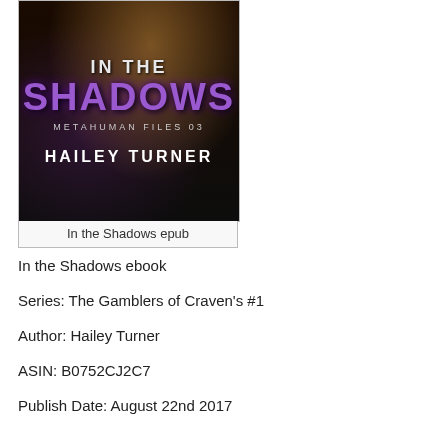[Figure (illustration): Book cover for 'In the Shadows' by Hailey Turner. Dark background with muscular shirtless figure. Title text 'IN THE SHADOWS' in large purple letters. Subtitle 'METAHUMAN FILES 03'. Author name 'HAILEY TURNER' at bottom.]
In the Shadows epub
In the Shadows ebook
Series: The Gamblers of Craven's #1
Author: Hailey Turner
ASIN: B0752CJ2C7
Publish Date: August 22nd 2017